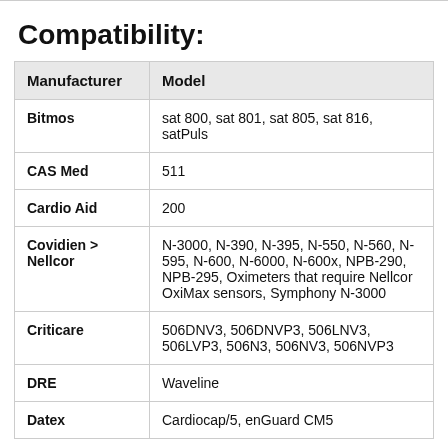Compatibility:
| Manufacturer | Model |
| --- | --- |
| Bitmos | sat 800, sat 801, sat 805, sat 816, satPuls |
| CAS Med | 511 |
| Cardio Aid | 200 |
| Covidien > Nellcor | N-3000, N-390, N-395, N-550, N-560, N-595, N-600, N-6000, N-600x, NPB-290, NPB-295, Oximeters that require Nellcor OxiMax sensors, Symphony N-3000 |
| Criticare | 506DNV3, 506DNVP3, 506LNV3, 506LVP3, 506N3, 506NV3, 506NVP3 |
| DRE | Waveline |
| Datex | Cardiocap/5, enGuard CM5 |